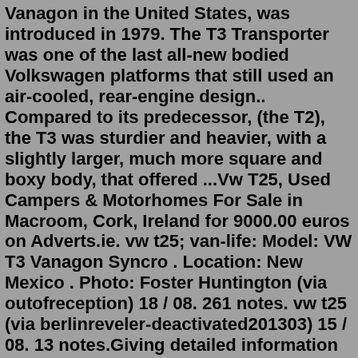Vanagon in the United States, was introduced in 1979. The T3 Transporter was one of the last all-new bodied Volkswagen platforms that still used an air-cooled, rear-engine design.. Compared to its predecessor, (the T2), the T3 was sturdier and heavier, with a slightly larger, much more square and boxy body, that offered ...Vw T25, Used Campers & Motorhomes For Sale in Macroom, Cork, Ireland for 9000.00 euros on Adverts.ie. vw t25; van-life: Model: VW T3 Vanagon Syncro . Location: New Mexico . Photo: Foster Huntington (via outofreception) 18 / 08. 261 notes. vw t25 (via berlinreveler-deactivated201303) 15 / 08. 13 notes.Giving detailed information on VW T25 / T3 conversions by companies such as Autosleeper, Autohomes, Danbury, Devon, Holdsworth and Westfalia. VW T25 Club (Facebook Group) An active Facebook community for T25 owners with over 10,000 members.. J10796. Clutch Kit (215mm) VW T25 Diesel 1981–1991. £122.50. J41888. T25 | SlaughterHouseCustom VW t25 The VW T25/T3 is the third generation of the VW Transporter...In the